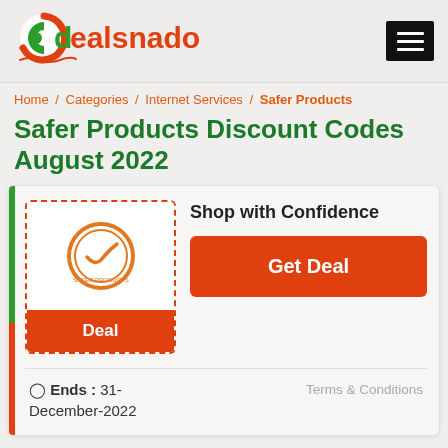[Figure (logo): Dealsnado logo with red and green branding]
Home / Categories / Internet Services / Safer Products
Safer Products Discount Codes August 2022
[Figure (infographic): Deal card with Safer Products logo badge, Deal button, Shop with Confidence text, Get Deal button]
Ends : 31-December-2022
Terms & Conditions